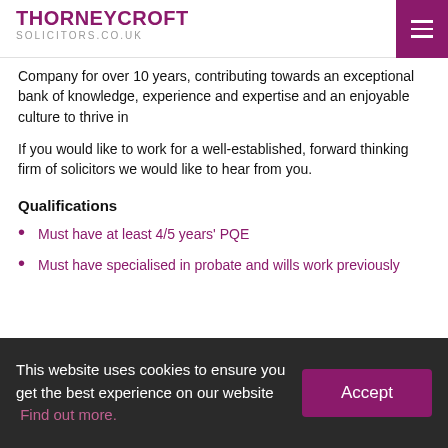THORNEYCROFT SOLICITORS.CO.UK
Company for over 10 years, contributing towards an exceptional bank of knowledge, experience and expertise and an enjoyable culture to thrive in
If you would like to work for a well-established, forward thinking firm of solicitors we would like to hear from you.
Qualifications
Must have at least 4/5 years' PQE
Must have specialised in probate and wills work previously
This website uses cookies to ensure you get the best experience on our website  Find out more.